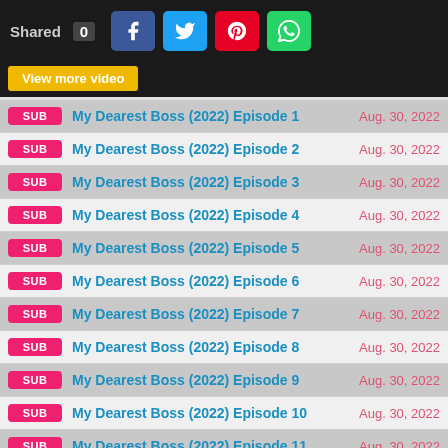Shared 0
View more video
SUB | My Dearest Boss (2022) Episode 1 | Aug. 30, 2022
SUB | My Dearest Boss (2022) Episode 2 | Aug. 30, 2022
SUB | My Dearest Boss (2022) Episode 3 | Aug. 30, 2022
SUB | My Dearest Boss (2022) Episode 4 | Aug. 30, 2022
SUB | My Dearest Boss (2022) Episode 5 | Aug. 30, 2022
SUB | My Dearest Boss (2022) Episode 6 | Aug. 30, 2022
SUB | My Dearest Boss (2022) Episode 7 | Aug. 30, 2022
SUB | My Dearest Boss (2022) Episode 8 | Aug. 30, 2022
SUB | My Dearest Boss (2022) Episode 9 | Aug. 30, 2022
SUB | My Dearest Boss (2022) Episode 10 | Aug. 30, 2022
SUB | My Dearest Boss (2022) Episode 11 | Aug. 30, 2022
SUB | My Dearest Boss (2022) Episode 12 | Aug. 30, 2022